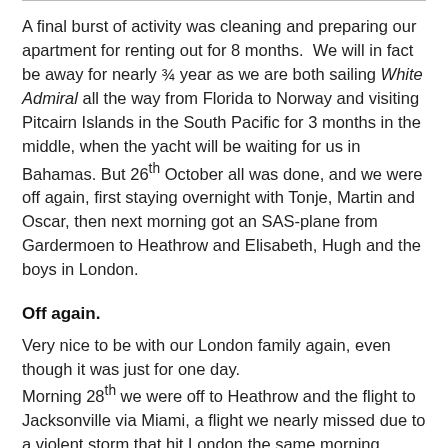A final burst of activity was cleaning and preparing our apartment for renting out for 8 months.  We will in fact be away for nearly ¾ year as we are both sailing White Admiral all the way from Florida to Norway and visiting Pitcairn Islands in the South Pacific for 3 months in the middle, when the yacht will be waiting for us in Bahamas. But 26th October all was done, and we were off again, first staying overnight with Tonje, Martin and Oscar, then next morning got an SAS-plane from Gardermoen to Heathrow and Elisabeth, Hugh and the boys in London.
Off again.
Very nice to be with our London family again, even though it was just for one day.
Morning 28th we were off to Heathrow and the flight to Jacksonville via Miami, a flight we nearly missed due to a violent storm that hit London the same morning. Fallen trees suddenly blocked the rails and stopped the Heathrow Express as we were standing at the Acton station, where